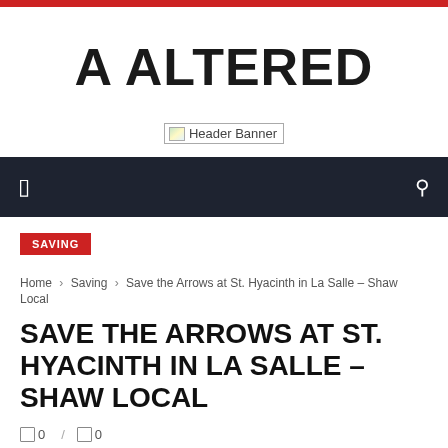A ALTERED
[Figure (other): Header Banner placeholder image]
SAVING
Home › Saving › Save the Arrows at St. Hyacinth in La Salle – Shaw Local
SAVE THE ARROWS AT ST. HYACINTH IN LA SALLE – SHAW LOCAL
0 / 0